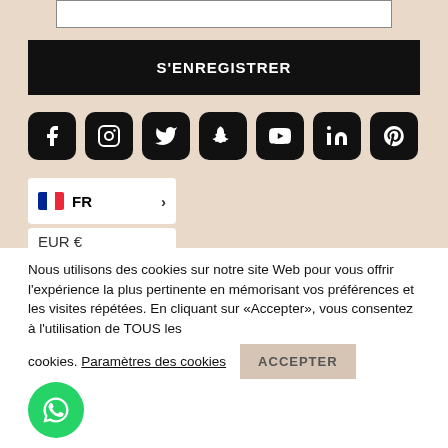[Figure (screenshot): Input text field (top portion visible)]
S'ENREGISTRER
[Figure (infographic): Seven social media icons: Facebook, Instagram, Twitter, Snapchat, YouTube, LinkedIn, Pinterest]
FR
EUR €
Nous utilisons des cookies sur notre site Web pour vous offrir l'expérience la plus pertinente en mémorisant vos préférences et les visites répétées. En cliquant sur «Accepter», vous consentez à l'utilisation de TOUS les cookies. Paramètres des cookies
ACCEPTER
[Figure (logo): WhatsApp green circular button with chat icon]